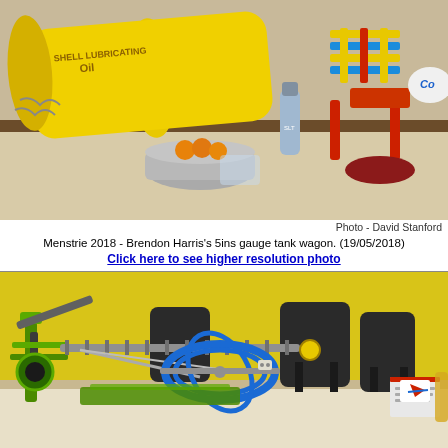[Figure (photo): Photo of a table with model railway items including a yellow Shell Lubricating Oil cylindrical tin/tank wagon, colourful Meccano/Knex constructions in red, blue and yellow, an aluminium tray with oranges, a water bottle, and a white cap with 'CO' text visible.]
Photo - David Stanford
Menstrie 2018 - Brendon Harris's 5ins gauge tank wagon. (19/05/2018)
Click here to see higher resolution photo
[Figure (photo): Photo of a room with yellow walls showing Meccano/Knex mechanical constructions on a table — including a green claw/crane mechanism on the left and a large blue circular/ring gyroscope-like structure in the centre, with dark chairs in the background.]